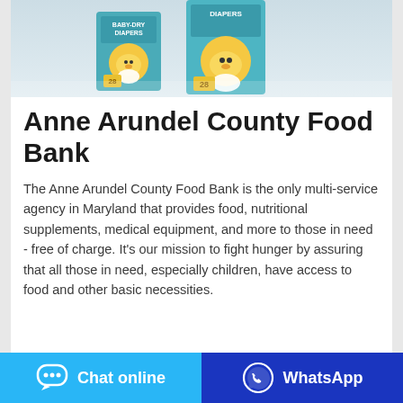[Figure (photo): Product photo of baby dry diapers boxes with cartoon bear mascot on teal/green packaging, showing two boxes of 28 diapers each]
Anne Arundel County Food Bank
The Anne Arundel County Food Bank is the only multi-service agency in Maryland that provides food, nutritional supplements, medical equipment, and more to those in need - free of charge. It's our mission to fight hunger by assuring that all those in need, especially children, have access to food and other basic necessities.
Chat online | WhatsApp